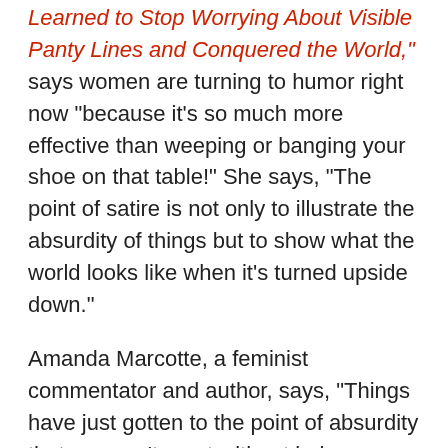Learned to Stop Worrying About Visible Panty Lines and Conquered the World," says women are turning to humor right now "because it's so much more effective than weeping or banging your shoe on that table!" She says, "The point of satire is not only to illustrate the absurdity of things but to show what the world looks like when it's turned upside down."
Amanda Marcotte, a feminist commentator and author, says, "Things have just gotten to the point of absurdity that you can't react without being absurd yourself." Thanks to recent attacks on even contraception, "ordinary women who often don't pay attention to politics are finally beginning to pay attention," she says. "And I think that means more opportunities to communicate through humor instead of the typical